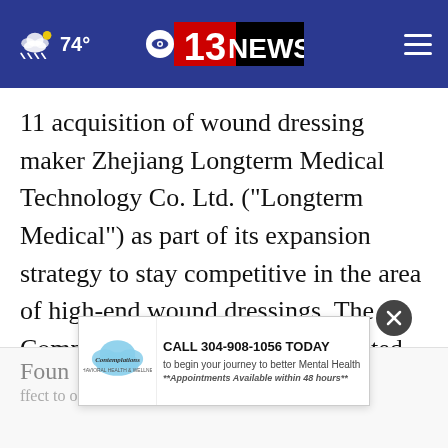74° | CBS 13 NEWS
11 acquisition of wound dressing maker Zhejiang Longterm Medical Technology Co. Ltd. ("Longterm Medical") as part of its expansion strategy to stay competitive in the area of high-end wound dressings. The Company has also set up a dedicated team to promote its self-developed wound dressing products as the market for such medical supplies is still in its infancy in China.
[Figure (infographic): Advertisement banner: Contemplations mental health. CALL 304-908-1056 TODAY to begin your journey to better Mental Health. **Appointments Available within 48 hours**]
Foun